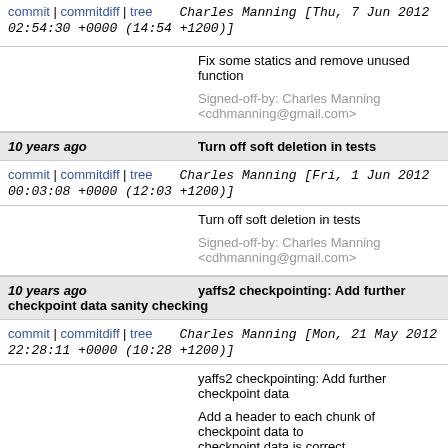commit | commitdiff | tree   Charles Manning [Thu, 7 Jun 2012 02:54:30 +0000 (14:54 +1200)]
Fix some statics and remove unused function

Signed-off-by: Charles Manning <cdhmanning@gmail.com>
10 years ago   Turn off soft deletion in tests
commit | commitdiff | tree   Charles Manning [Fri, 1 Jun 2012 00:03:08 +0000 (12:03 +1200)]
Turn off soft deletion in tests

Signed-off-by: Charles Manning <cdhmanning@gmail.com>
10 years ago   yaffs2 checkpointing: Add further checkpoint data sanity checking
commit | commitdiff | tree   Charles Manning [Mon, 21 May 2012 22:28:11 +0000 (10:28 +1200)]
yaffs2 checkpointing: Add further checkpoint data

Add a header to each chunk of checkpoint data to checkpoint data is correct.

Signed-off-by: Charles Manning <cdhmanning@gmail.com>